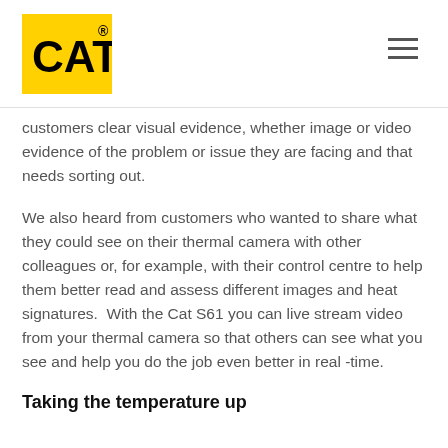[Figure (logo): CAT logo – yellow rectangle with black bold text CAT and registered trademark symbol]
customers clear visual evidence, whether image or video evidence of the problem or issue they are facing and that needs sorting out.
We also heard from customers who wanted to share what they could see on their thermal camera with other colleagues or, for example, with their control centre to help them better read and assess different images and heat signatures.  With the Cat S61 you can live stream video from your thermal camera so that others can see what you see and help you do the job even better in real -time.
Taking the temperature up